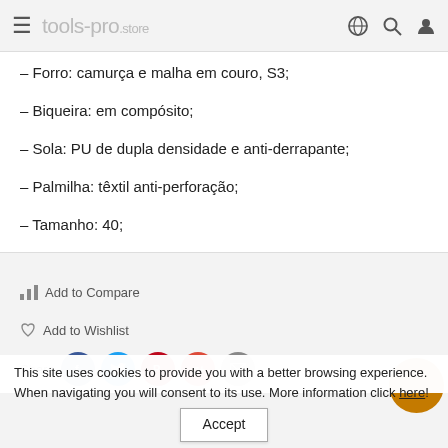tools-pro.store
– Forro: camurça e malha em couro, S3;
– Biqueira: em compósito;
– Sola: PU de dupla densidade e anti-derrapante;
– Palmilha: têxtil anti-perforação;
– Tamanho: 40;
– Cor: cinza.
Price/UN: 40,52 €
Add to Compare
This site uses cookies to provide you with a better browsing experience. When navigating you will consent to its use. More information click here!
Accept
Add to Wishlist
Share